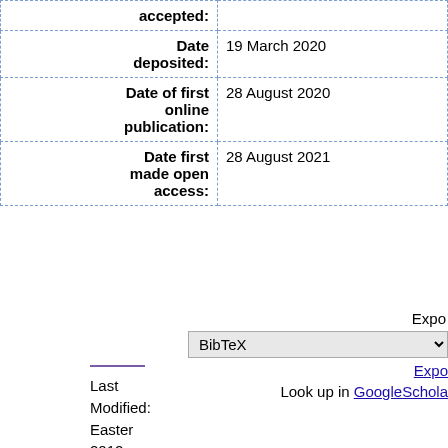| Field | Value |
| --- | --- |
| accepted: |  |
| Date deposited: | 19 March 2020 |
| Date of first online publication: | 28 August 2020 |
| Date first made open access: | 28 August 2021 |
Export BibTeX Export Look up in GoogleScholar
Last Modified: Easter 2012